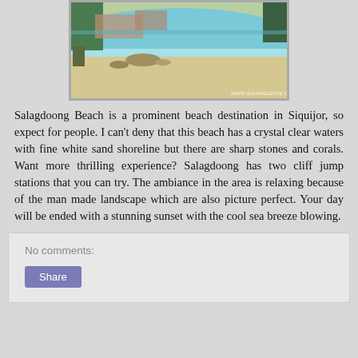[Figure (photo): Beach photo of Salagdoong Beach in Siquijor showing crystal clear turquoise waters, white sandy shoreline with some rocky areas, trees and structures in the background, with watermark WWW.SIRANGLENTE.COM]
Salagdoong Beach is a prominent beach destination in Siquijor, so expect for people. I can't deny that this beach has a crystal clear waters with fine white sand shoreline but there are sharp stones and corals. Want more thrilling experience? Salagdoong has two cliff jump stations that you can try. The ambiance in the area is relaxing because of the man made landscape which are also picture perfect. Your day will be ended with a stunning sunset with the cool sea breeze blowing.
No comments:
Share